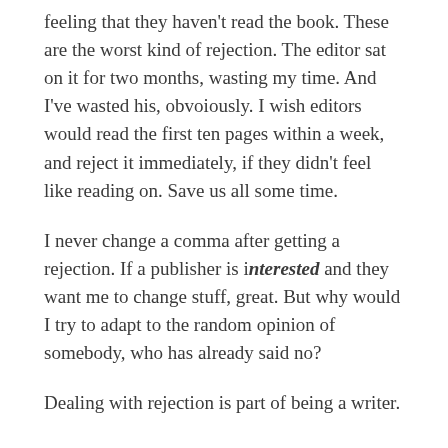feeling that they haven't read the book. These are the worst kind of rejection. The editor sat on it for two months, wasting my time. And I've wasted his, obvoiously. I wish editors would read the first ten pages within a week, and reject it immediately, if they didn't feel like reading on. Save us all some time.
I never change a comma after getting a rejection. If a publisher is interested and they want me to change stuff, great. But why would I try to adapt to the random opinion of somebody, who has already said no?
Dealing with rejection is part of being a writer.